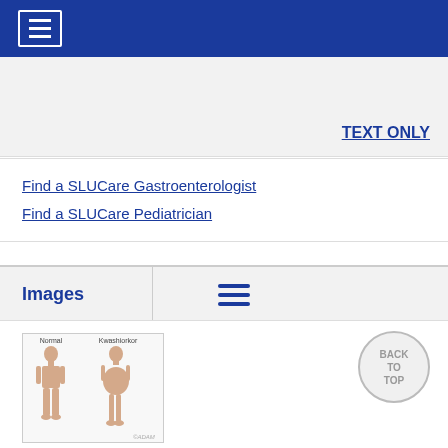[Figure (screenshot): Blue navigation bar with hamburger menu icon (three white horizontal lines) on the left]
TEXT ONLY
Find a SLUCare Gastroenterologist
Find a SLUCare Pediatrician
Images
[Figure (illustration): Medical illustration showing two body silhouettes side by side labeled Normal and Kwashiorkor, showing body shape differences. ADAM watermark at bottom right.]
BACK TO TOP